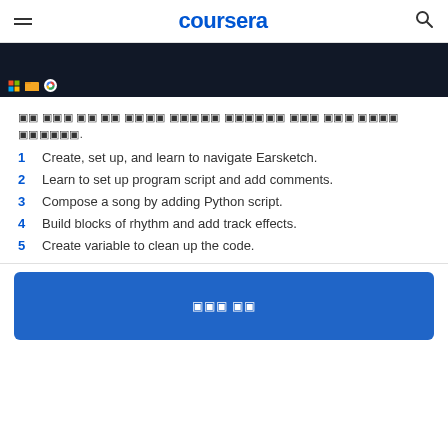coursera
[Figure (screenshot): Partial screenshot of a computer screen showing a dark taskbar at the bottom with Windows icon, folder icon, and Chrome browser icon.]
이 모든 것 에 대해 학습하는 동안 여러분은 해당 강좌를 수강합니다.
1  Create, set up, and learn to navigate Earsketch.
2  Learn to set up program script and add comments.
3  Compose a song by adding Python script.
4  Build blocks of rhythm and add track effects.
5  Create variable to clean up the code.
[Figure (screenshot): Blue button area with white text characters, appearing to be a call-to-action button on the Coursera page.]